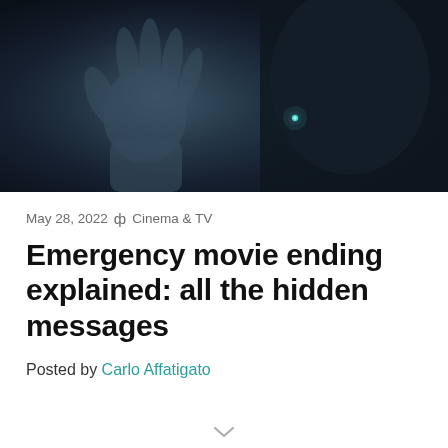[Figure (photo): Dark cinematic still from the movie Emergency, showing a hand raised against a dark background with a blurred figure in a dark jacket with a glowing blue-green button/pin]
May 28, 2022 ф  Cinema & TV
Emergency movie ending explained: all the hidden messages
Posted by Carlo Affatigato